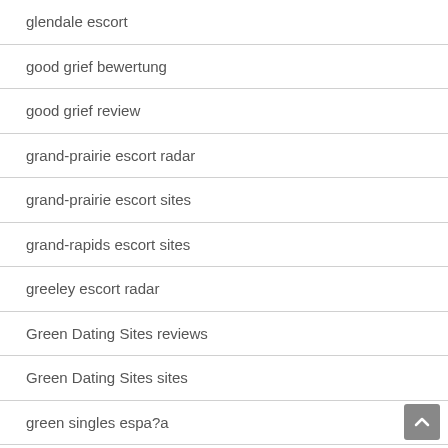glendale escort
good grief bewertung
good grief review
grand-prairie escort radar
grand-prairie escort sites
grand-rapids escort sites
greeley escort radar
Green Dating Sites reviews
Green Dating Sites sites
green singles espa?a
green singles review
greensboro escort
gresham escort near me